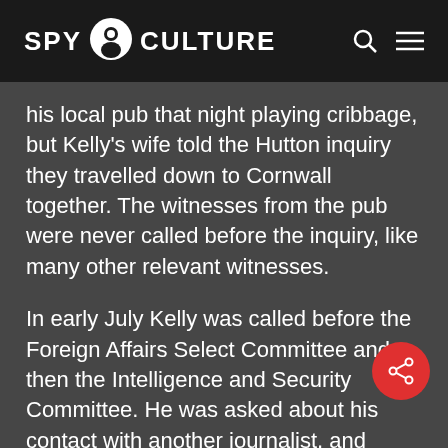SPY CULTURE
his local pub that night playing cribbage, but Kelly’s wife told the Hutton inquiry they travelled down to Cornwall together. The witnesses from the pub were never called before the inquiry, like many other relevant witnesses.
In early July Kelly was called before the Foreign Affairs Select Committee and then the Intelligence and Security Committee. He was asked about his contact with another journalist, and appears to have lied, denying that he was the source for her somewhat similar story. It